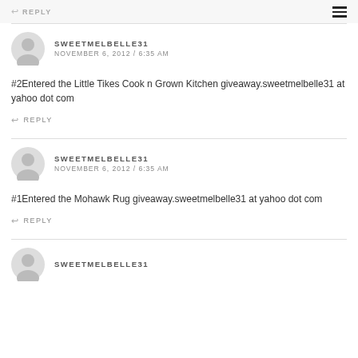REPLY
SWEETMELBELLE31
NOVEMBER 6, 2012 / 6:35 AM
#2Entered the Little Tikes Cook n Grown Kitchen giveaway.sweetmelbelle31 at yahoo dot com
REPLY
SWEETMELBELLE31
NOVEMBER 6, 2012 / 6:35 AM
#1Entered the Mohawk Rug giveaway.sweetmelbelle31 at yahoo dot com
REPLY
SWEETMELBELLE31